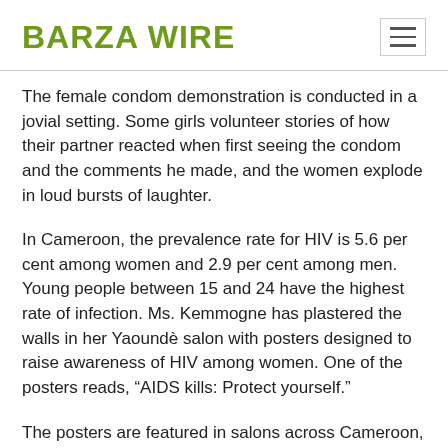BARZA WIRE
The female condom demonstration is conducted in a jovial setting. Some girls volunteer stories of how their partner reacted when first seeing the condom and the comments he made, and the women explode in loud bursts of laughter.
In Cameroon, the prevalence rate for HIV is 5.6 per cent among women and 2.9 per cent among men. Young people between 15 and 24 have the highest rate of infection. Ms. Kemmogne has plastered the walls in her Yaoundè salon with posters designed to raise awareness of HIV among women. One of the posters reads, “AIDS kills: Protect yourself.”
The posters are featured in salons across Cameroon, and are produced by an NGO called l’Association